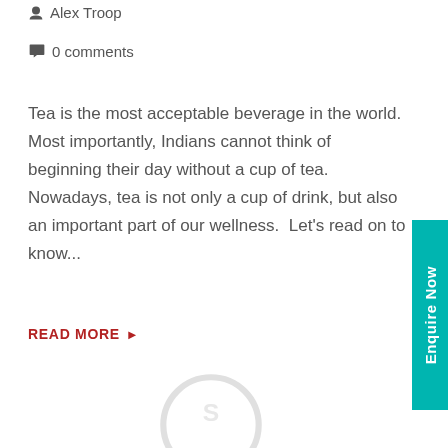Alex Troop
0 comments
Tea is the most acceptable beverage in the world. Most importantly, Indians cannot think of beginning their day without a cup of tea. Nowadays, tea is not only a cup of drink, but also an important part of our wellness.  Let's read on to know...
READ MORE ▶
[Figure (illustration): Teal vertical 'Enquire Now' tab on the right side of the page]
[Figure (logo): Partial circular watermark/logo at bottom center of page]